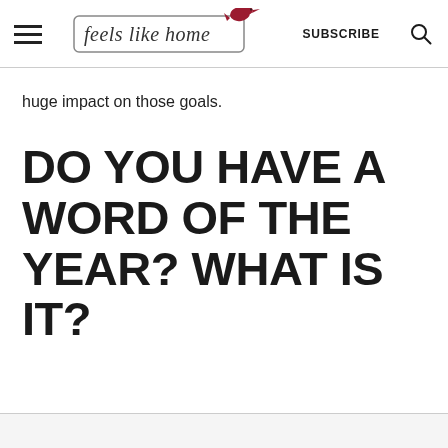feels like home — SUBSCRIBE
huge impact on those goals.
DO YOU HAVE A WORD OF THE YEAR? WHAT IS IT?